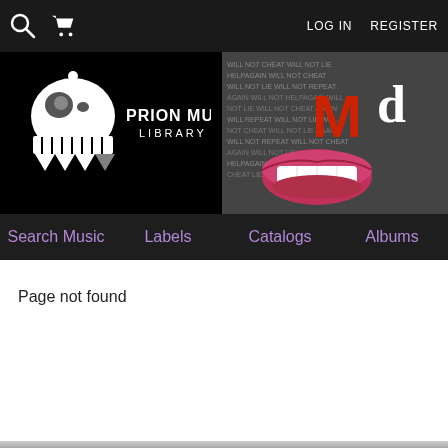LOG IN   REGISTER
[Figure (logo): Prion Music Library logo with skull-like mascot icon and text PRION MUSIC LIBRARY on black background, alongside a promotional image of red lips and letters]
Search Music   Labels   Catalogs   Albums
Page not found